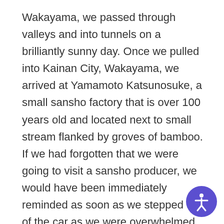Wakayama, we passed through valleys and into tunnels on a brilliantly sunny day.  Once we pulled into Kainan City, Wakayama, we arrived at Yamamoto Katsunosuke, a small sansho factory that is over 100 years old and located next to small stream flanked by groves of bamboo.  If we had forgotten that we were going to visit a sansho producer, we would have been immediately reminded as soon as we stepped out of the car as we were overwhelmed by it's heavy aroma.
Sansho, also known as Japanese pepper, has been used as a cuisine-spice as well as traditional medicine since ancient times.  The berry is harvested and is very fragrant, like kaffir lime, but a little more bracing and lemony.  The flavor is very unique and it has a distinctive numbing sensation when it hits your